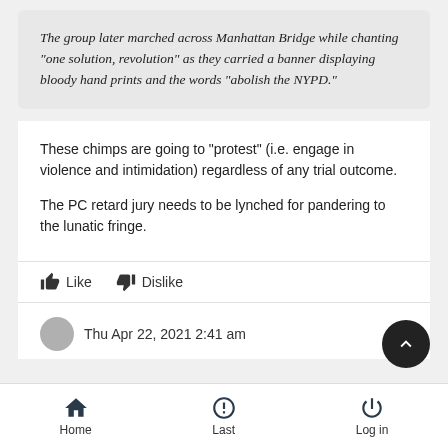The group later marched across Manhattan Bridge while chanting “one solution, revolution” as they carried a banner displaying bloody hand prints and the words “abolish the NYPD.”
These chimps are going to "protest" (i.e. engage in violence and intimidation) regardless of any trial outcome.
The PC retard jury needs to be lynched for pandering to the lunatic fringe.
Like   Dislike
Thu Apr 22, 2021 2:41 am
Home   Last   Log in